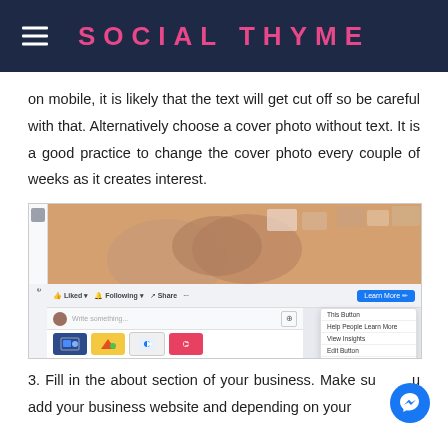SOCIAL THYME
on mobile, it is likely that the text will get cut off so be careful with that. Alternatively choose a cover photo without text. It is a good practice to change the cover photo every couple of weeks as it creates interest.
[Figure (screenshot): Screenshot of a Facebook business page interface showing a cover photo area with hands browsing photos, social action buttons (Like, Following, Share), a blue 'Learn More' button with a dropdown menu showing options: This Button, Help People Learn More, View Insights, Edit Button, Delete Button, See All, and a post composition area with media icon buttons.]
3. Fill in the about section of your business. Make sure you add your business website and depending on your